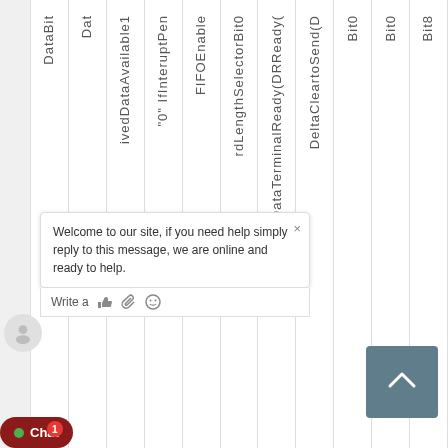[Figure (screenshot): A screenshot of a website with vertical column headers showing database field names: DataBit, Dat, ivedDataAvailable1, "0"IfInteruptPen, FIFO Enable, rdLengthSelectorBit0, DataTerminalReady(DRReady(DRReady(, DataReady(DR), DeltaCleartoSend(D, Bit0, Bit0, Bit8. A chat widget is overlaid on the bottom left showing a welcome message and a scroll-to-top button on the bottom right.]